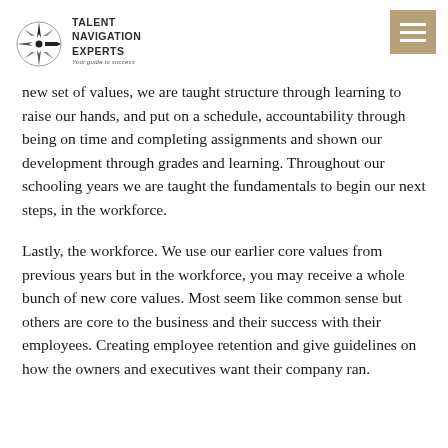Talent Navigation Experts — Your guide to success
new set of values, we are taught structure through learning to raise our hands, and put on a schedule, accountability through being on time and completing assignments and shown our development through grades and learning. Throughout our schooling years we are taught the fundamentals to begin our next steps, in the workforce.
Lastly, the workforce. We use our earlier core values from previous years but in the workforce, you may receive a whole bunch of new core values. Most seem like common sense but others are core to the business and their success with their employees. Creating employee retention and give guidelines on how the owners and executives want their company ran.